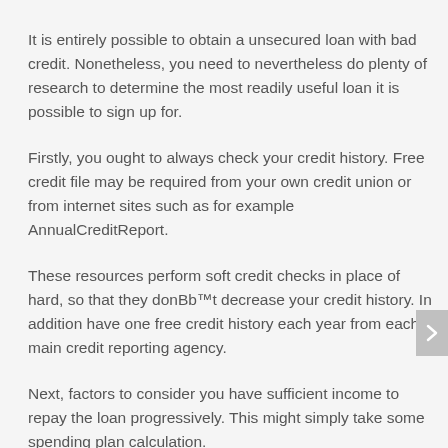It is entirely possible to obtain a unsecured loan with bad credit. Nonetheless, you need to nevertheless do plenty of research to determine the most readily useful loan it is possible to sign up for.
Firstly, you ought to always check your credit history. Free credit file may be required from your own credit union or from internet sites such as for example AnnualCreditReport.
These resources perform soft credit checks in place of hard, so that they donBb™t decrease your credit history. In addition have one free credit history each year from each main credit reporting agency.
Next, factors to consider you have sufficient income to repay the loan progressively. This might simply take some spending plan calculation.